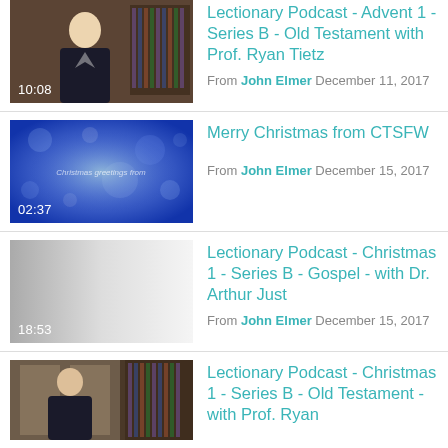[Figure (screenshot): Video thumbnail of a man in front of a bookshelf, duration 10:08]
Lectionary Podcast - Advent 1 - Series B - Old Testament with Prof. Ryan Tietz
From John Elmer December 11, 2017
[Figure (screenshot): Video thumbnail with blue bokeh background and text 'Christmas greetings from', duration 02:37]
Merry Christmas from CTSFW
From John Elmer December 15, 2017
[Figure (screenshot): Video thumbnail with grey gradient background, duration 18:53]
Lectionary Podcast - Christmas 1 - Series B - Gospel - with Dr. Arthur Just
From John Elmer December 15, 2017
[Figure (screenshot): Video thumbnail of a man in front of a bookshelf]
Lectionary Podcast - Christmas 1 - Series B - Old Testament - with Prof. Ryan